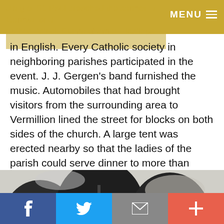Jung of St. Paul preached the sermon in German and Father Patrick Cunningham of Hastings preached it in English. MENU
in English. Every Catholic society in neighboring parishes participated in the event. J. J. Gergen's band furnished the music. Automobiles that had brought visitors from the surrounding area to Vermillion lined the street for blocks on both sides of the church. A large tent was erected nearby so that the ladies of the parish could serve dinner to more than 1,000 people who attended the festivities.
[Figure (photo): Black and white historical photograph showing trees, a street, a utility pole, and a church building with a peaked roof visible on the right side.]
f  [Twitter bird]  [envelope]  +